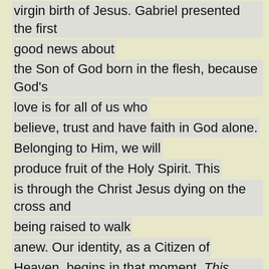virgin birth of Jesus.  Gabriel presented the first good news about the Son of God born in the flesh, because God's love is for all of us who believe, trust and have faith in God alone.  Belonging to Him, we will produce fruit of the Holy Spirit.  This is through the Christ Jesus dying on the cross and being raised to walk anew.  Our identity, as a Citizen of Heaven, begins in that moment.  This means that anyone who belongs to Christ has become a new person.